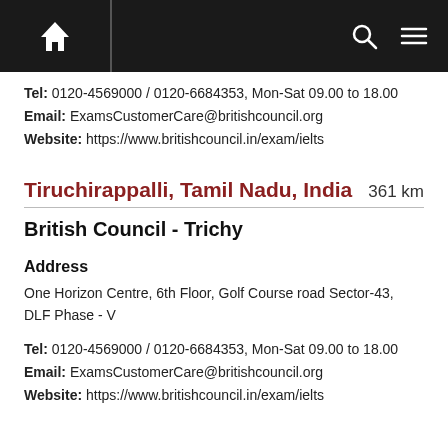Navigation bar with home, search, and menu icons
Tel: 0120-4569000 / 0120-6684353, Mon-Sat 09.00 to 18.00
Email: ExamsCustomerCare@britishcouncil.org
Website: https://www.britishcouncil.in/exam/ielts
Tiruchirappalli, Tamil Nadu, India   361 km
British Council - Trichy
Address
One Horizon Centre, 6th Floor, Golf Course road Sector-43, DLF Phase - V
Tel: 0120-4569000 / 0120-6684353, Mon-Sat 09.00 to 18.00
Email: ExamsCustomerCare@britishcouncil.org
Website: https://www.britishcouncil.in/exam/ielts